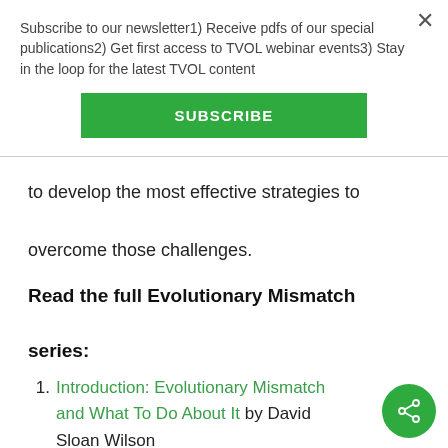Subscribe to our newsletter1) Receive pdfs of our special publications2) Get first access to TVOL webinar events3) Stay in the loop for the latest TVOL content
SUBSCRIBE
to develop the most effective strategies to overcome those challenges.
Read the full Evolutionary Mismatch series:
1. Introduction: Evolutionary Mismatch and What To Do About It by David Sloan Wilson